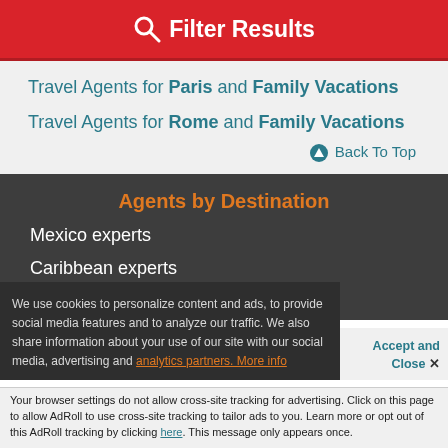Filter Results
Travel Agents for Paris and Family Vacations
Travel Agents for Rome and Family Vacations
Back To Top
Agents by Destination
Mexico experts
Caribbean experts
Europe experts
We use cookies to personalize content and ads, to provide social media features and to analyze our traffic. We also share information about your use of our site with our social media, advertising and analytics partners. More info
Accept and Close ✕
Your browser settings do not allow cross-site tracking for advertising. Click on this page to allow AdRoll to use cross-site tracking to tailor ads to you. Learn more or opt out of this AdRoll tracking by clicking here. This message only appears once.